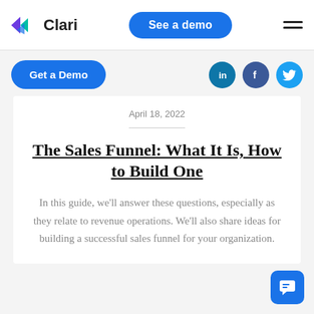[Figure (logo): Clari logo with arrow icon and text 'Clari']
[Figure (screenshot): Blue 'See a demo' button (pill shape)]
[Figure (screenshot): Hamburger menu icon (two horizontal lines)]
[Figure (screenshot): Blue 'Get a Demo' button (pill shape)]
[Figure (screenshot): LinkedIn, Facebook, Twitter social share icons]
April 18, 2022
The Sales Funnel: What It Is, How to Build One
In this guide, we'll answer these questions, especially as they relate to revenue operations. We'll also share ideas for building a successful sales funnel for your organization.